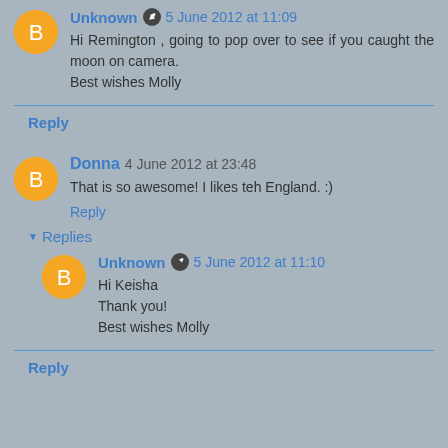Unknown  5 June 2012 at 11:09
Hi Remington , going to pop over to see if you caught the moon on camera.
Best wishes Molly
Reply
Donna  4 June 2012 at 23:48
That is so awesome! I likes teh England. :)
Reply
Replies
Unknown  5 June 2012 at 11:10
Hi Keisha
Thank you!
Best wishes Molly
Reply